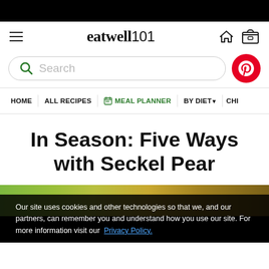eatwell 101
Search
HOME   ALL RECIPES   MEAL PLANNER   BY DIET   CHI
In Season: Five Ways with Seckel Pear
[Figure (photo): Partial view of food photo at bottom of page]
Our site uses cookies and other technologies so that we, and our partners, can remember you and understand how you use our site. For more information visit our Privacy Policy.